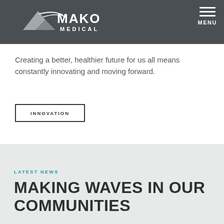Mako Medical — MENU
Creating a better, healthier future for us all means constantly innovating and moving forward.
INNOVATION
LATEST NEWS
MAKING WAVES IN OUR COMMUNITIES